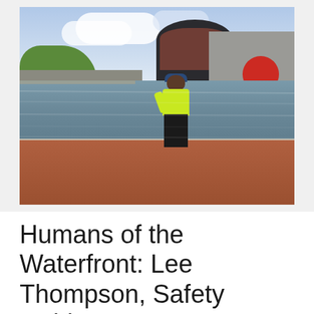[Figure (photo): A safety guide in a bright yellow hi-vis shirt and dark pants stands at a waterfront, holding a radio. Behind him is a large modern building with a cylindrical dark top section and a concrete section with a red circle. The waterfront features a brick promenade and water in the background.]
Humans of the Waterfront: Lee Thompson, Safety Guide